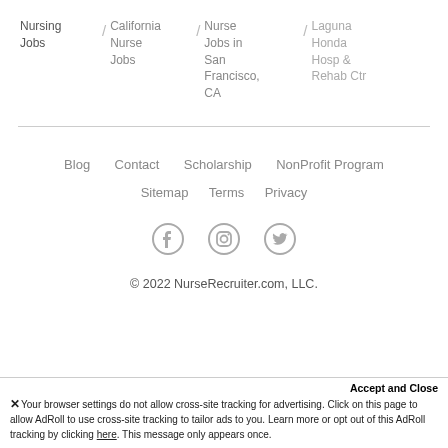Nursing Jobs / California Nurse Jobs / Nurse Jobs in San Francisco, CA / Laguna Honda Hosp & Rehab Ctr
Blog  Contact  Scholarship  NonProfit Program  Sitemap  Terms  Privacy
© 2022 NurseRecruiter.com, LLC.
Accept and Close
✗ Your browser settings do not allow cross-site tracking for advertising. Click on this page to allow AdRoll to use cross-site tracking to tailor ads to you. Learn more or opt out of this AdRoll tracking by clicking here. This message only appears once.